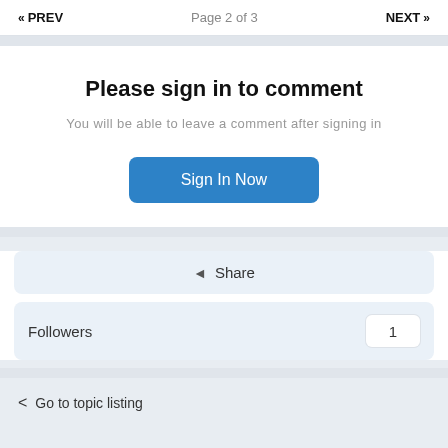« PREV   Page 2 of 3   NEXT »
Please sign in to comment
You will be able to leave a comment after signing in
Sign In Now
Share
Followers   1
< Go to topic listing